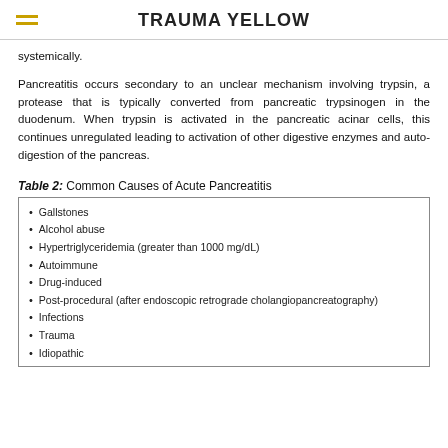TRAUMA YELLOW
systemically.
Pancreatitis occurs secondary to an unclear mechanism involving trypsin, a protease that is typically converted from pancreatic trypsinogen in the duodenum. When trypsin is activated in the pancreatic acinar cells, this continues unregulated leading to activation of other digestive enzymes and auto-digestion of the pancreas.
Table 2: Common Causes of Acute Pancreatitis
Gallstones
Alcohol abuse
Hypertriglyceridemia (greater than 1000 mg/dL)
Autoimmune
Drug-induced
Post-procedural (after endoscopic retrograde cholangiopancreatography)
Infections
Trauma
Idiopathic